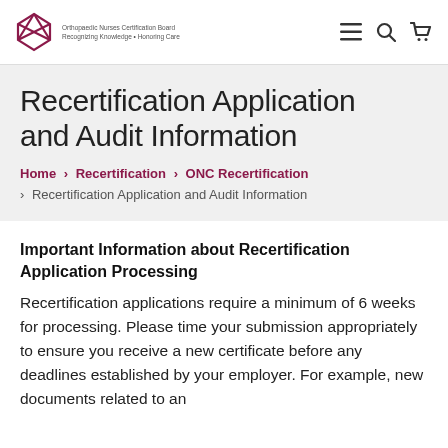Orthopaedic Nurses Certification Board — Recognizing Knowledge, Honoring Care
Recertification Application and Audit Information
Home > Recertification > ONC Recertification > Recertification Application and Audit Information
Important Information about Recertification Application Processing
Recertification applications require a minimum of 6 weeks for processing. Please time your submission appropriately to ensure you receive a new certificate before any deadlines established by your employer. For example, new documents related to an